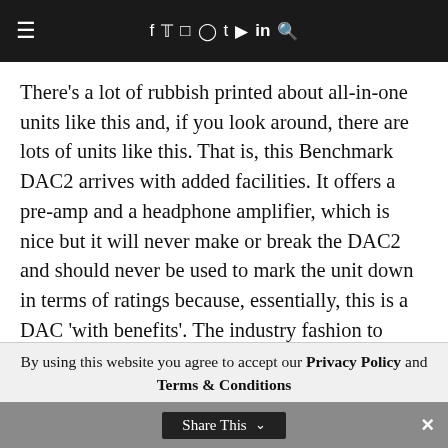≡  f  𝕏  ◻  ◉  t  ▶  in  🔍
There's a lot of rubbish printed about all-in-one units like this and, if you look around, there are lots of units like this. That is, this Benchmark DAC2 arrives with added facilities. It offers a pre-amp and a headphone amplifier, which is nice but it will never make or break the DAC2 and should never be used to mark the unit down in terms of ratings because, essentially, this is a DAC 'with benefits'. The industry fashion to include the world and his mother in terms of facilities in and
By using this website you agree to accept our Privacy Policy and Terms & Conditions
Share This